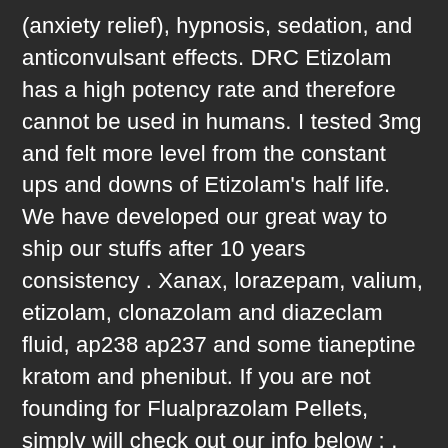(anxiety relief), hypnosis, sedation, and anticonvulsant effects. DRC Etizolam has a high potency rate and therefore cannot be used in humans. I tested 3mg and felt more level from the constant ups and downs of Etizolam's half life. We have developed our great way to ship our stuffs after 10 years consistency . Xanax, lorazepam, valium, etizolam, clonazolam and diazeclam fluid, ap238 ap237 and some tianeptine kratom and phenibut. If you are not founding for Flualprazolam Pellets, simply will check out our info below : . com, thats the first step. Sealed vial of etizolam dissolved in propylene glycol. Etizolam is a research chemical analogue of the benzodiazepine class of drugs - the benzene ring being replaced by a thiophene ring, making it a thienodiazepine. The cause of death in the cases in which etizolam was detected was multi-drug toxicity in 87. Thumbs up. Consider dose reduction of